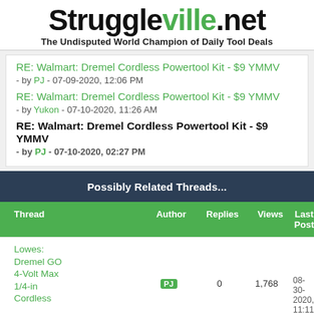Struggleville.net — The Undisputed World Champion of Daily Tool Deals
RE: Walmart: Dremel Cordless Powertool Kit - $9 YMMV - by PJ - 07-09-2020, 12:06 PM
RE: Walmart: Dremel Cordless Powertool Kit - $9 YMMV - by Yukon - 07-10-2020, 11:26 AM
RE: Walmart: Dremel Cordless Powertool Kit - $9 YMMV - by PJ - 07-10-2020, 02:27 PM
| Thread | Author | Replies | Views | Last Post |
| --- | --- | --- | --- | --- |
| Lowes: Dremel GO 4-Volt Max 1/4-in Cordless | PJ | 0 | 1,768 | 08-30-2020, 11:11 P
Last Post: |